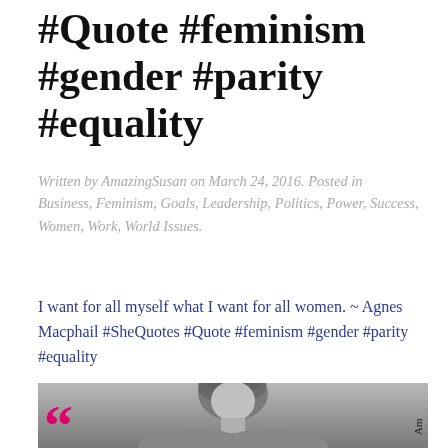#Quote #feminism #gender #parity #equality
Written by AmazingSusan on March 24, 2016. Posted in Business, Feminism, Goals, Leadership, Politics, Power, Success, Women, Work, World Issues.
I want for all myself what I want for all women. ~ Agnes Macphail #SheQuotes #Quote #feminism #gender #parity #equality
[Figure (photo): Black and white portrait photo of Agnes Macphail, a woman with curly hair, shown from roughly shoulders up. Pink large quotation mark visible in bottom-left corner. 'Am' text appears rotated vertically at bottom-right.]